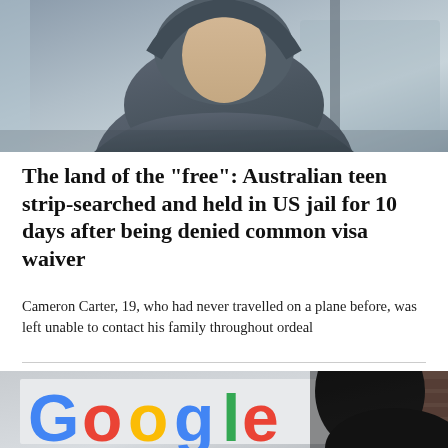[Figure (photo): A young person wearing a dark grey hoodie, photographed indoors near a window, upper body visible against a blurred background.]
The land of the "free": Australian teen strip-searched and held in US jail for 10 days after being denied common visa waiver
Cameron Carter, 19, who had never travelled on a plane before, was left unable to contact his family throughout ordeal
[Figure (photo): A Google logo sign photographed in an office or public space, with a person with dark hair visible to the right, partially obscured. Brick wall visible in background.]